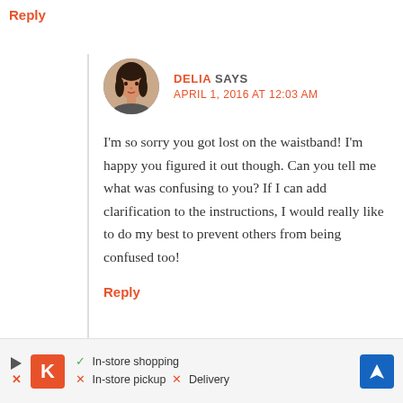Reply
DELIA SAYS
APRIL 1, 2016 AT 12:03 AM
I'm so sorry you got lost on the waistband! I'm happy you figured it out though. Can you tell me what was confusing to you? If I can add clarification to the instructions, I would really like to do my best to prevent others from being confused too!
Reply
[Figure (infographic): Advertisement banner showing Kroger store info with in-store shopping, no pickup, no delivery icons]